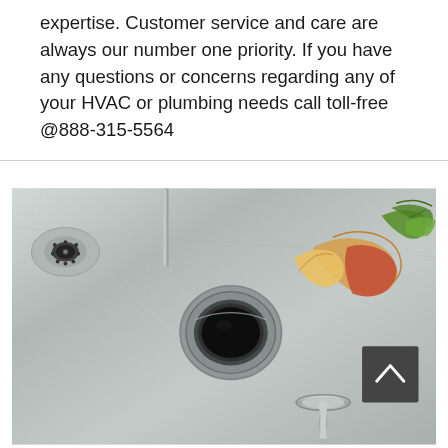expertise. Customer service and care are always our number one priority. If you have any questions or concerns regarding any of your HVAC or plumbing needs call toll-free @888-315-5564
[Figure (photo): Close-up photo of a stainless steel kitchen sink with a garbage disposal drain opening in the center. Food scraps including what appears to be apple peels and green vegetable pieces are visible near the drain. A stopper or plug is visible in the lower portion of the sink. There is a dark scroll-up button overlay in the lower right of the image.]